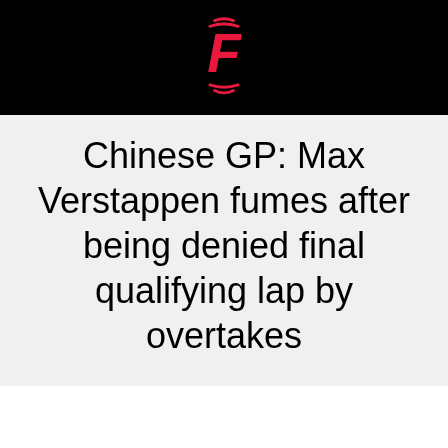[Figure (logo): Formula 1 / F1 logo in pink/red on black background — stylized F with speed lines above and below]
Chinese GP: Max Verstappen fumes after being denied final qualifying lap by overtakes